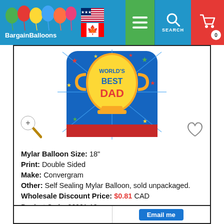[Figure (screenshot): BargainBalloons website header with logo, US and Canadian flags, green menu button, search button, and red cart button with 0 items]
[Figure (photo): Square mylar balloon with blue background featuring a gold trophy and text reading World's Best Dad, decorated with colorful stars]
Mylar Balloon Size: 18"
Print: Double Sided
Make: Convergram
Other: Self Sealing Mylar Balloon, sold unpackaged.
Wholesale Discount Price: $0.81 CAD
Product Code: 86061-18